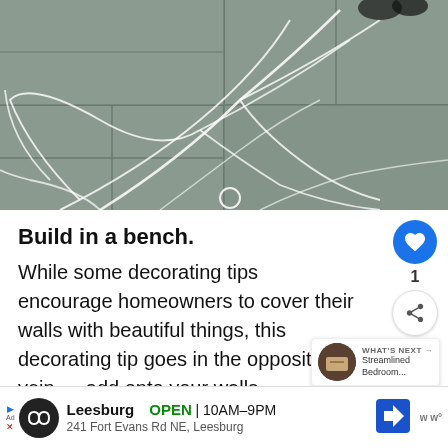[Figure (photo): Gray stone tile floor with white chalk line art drawing of curved leaf/petal designs and a small circle, viewed from above with a person's feet partially visible at the top.]
Build in a bench.
While some decorating tips encourage homeowners to cover their walls with beautiful things, this decorating tip goes in the opposite vein — add onto your walls
[Figure (photo): What's Next thumbnail showing a streamlined bedroom]
WHAT'S NEXT → Streamlined Bedroom...
Leesburg OPEN 10AM–9PM 241 Fort Evans Rd NE, Leesburg